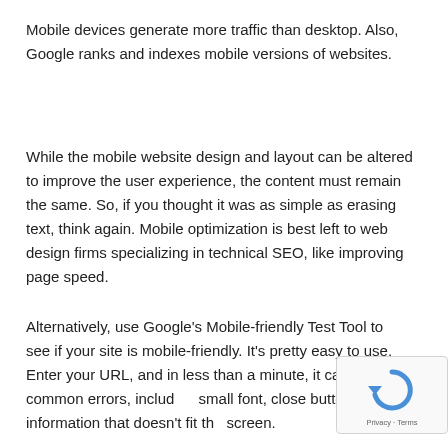Mobile devices generate more traffic than desktop. Also, Google ranks and indexes mobile versions of websites.
While the mobile website design and layout can be altered to improve the user experience, the content must remain the same. So, if you thought it was as simple as erasing text, think again. Mobile optimization is best left to web design firms specializing in technical SEO, like improving page speed.
Alternatively, use Google's Mobile-friendly Test Tool to see if your site is mobile-friendly. It's pretty easy to use. Enter your URL, and in less than a minute, it can indicate common errors, including small font, close buttons, and information that doesn't fit the screen.
[Figure (other): Google reCAPTCHA widget overlay in bottom-right corner showing the reCAPTCHA logo and Privacy - Terms text]